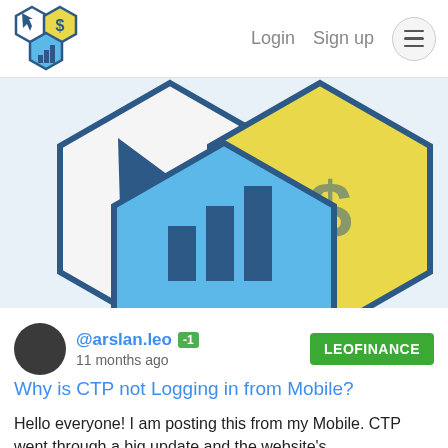Login  Sign up
[Figure (illustration): CTP/LeoFinance logo illustration showing three hexagons: white hexagon with cursor icon, yellow hexagon with dollar sign, and blue hexagon with bar chart icon]
@arslan.leo -1   11 months ago   LEOFINANCE
Why is CTP not Logging in from Mobile?
Hello everyone! I am posting this from my Mobile. CTP went through a big update and the website's